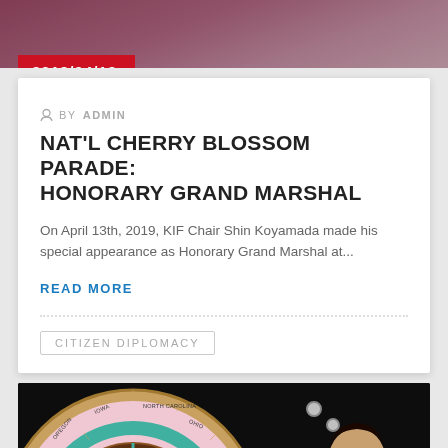[Figure (photo): Top photo showing people at an event, partially visible, with pink floral background]
2019/04/13
BY ADMIN
NAT'L CHERRY BLOSSOM PARADE: HONORARY GRAND MARSHAL
On April 13th, 2019, KIF Chair Shin Koyamada made his special appearance as Honorary Grand Marshal at...
READ MORE
CITIZEN DIPLOMACY
[Figure (photo): Photo of a decorative spinning wheel (prize wheel) with state names written on it, and a smiling man in a tuxedo standing to the right]